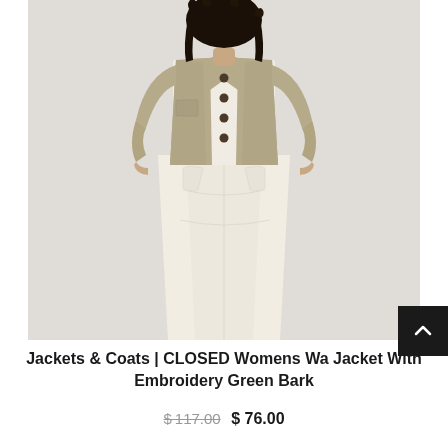[Figure (photo): A woman wearing a khaki/olive green workwear jacket with dark buttons over a white top and cream/off-white wide-leg trousers, standing against a light gray background. The photo is cropped from shoulder to ankle.]
Jackets & Coats | CLOSED Womens Washed Worker Jacket With Embroidery Green Bark
$117.00 $ 76.00